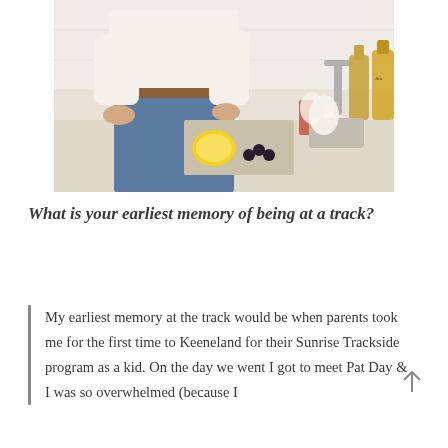[Figure (photo): A person in a white shirt and jeans preparing drinks at a kitchen counter, with lemons, blackberries, liquor bottles visible.]
What is your earliest memory of being at a track?
My earliest memory at the track would be when parents took me for the first time to Keeneland for their Sunrise Trackside program as a kid. On the day we went I got to meet Pat Day & I was so overwhelmed (because I